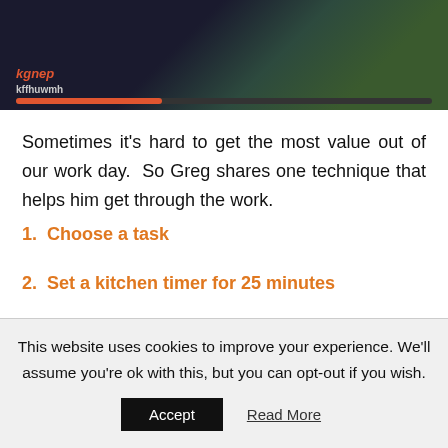[Figure (screenshot): A partial screenshot showing a video player thumbnail with dark background, a person in green, and what appears to be a video interface with orange branding text and a progress bar at the bottom.]
Sometimes it's hard to get the most value out of our work day.  So Greg shares one technique that helps him get through the work.
1.  Choose a task
2.  Set a kitchen timer for 25 minutes
This website uses cookies to improve your experience. We'll assume you're ok with this, but you can opt-out if you wish.